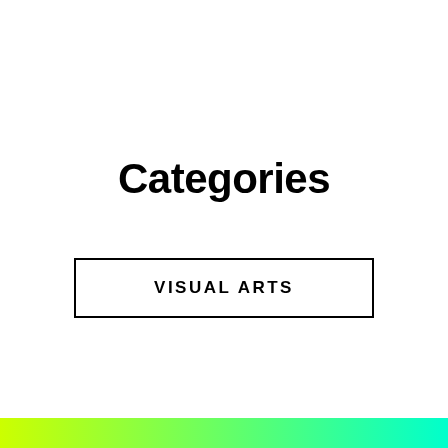Categories
VISUAL ARTS
[Figure (illustration): Gradient bar at bottom of page transitioning from yellow-green on the left to cyan/turquoise on the right]